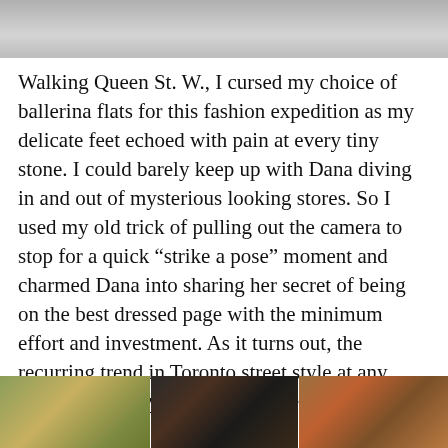[Figure (photo): Top portion of a photo, appears to show a grey/concrete surface, partially cropped]
Walking Queen St. W., I cursed my choice of ballerina flats for this fashion expedition as my delicate feet echoed with pain at every tiny stone. I could barely keep up with Dana diving in and out of mysterious looking stores. So I used my old trick of pulling out the camera to stop for a quick “strike a pose” moment and charmed Dana into sharing her secret of being on the best dressed page with the minimum effort and investment. As it turns out, the recurring trend in Toronto street style at any season or on any occasion is based on emotions and love.
[Figure (photo): Three street-level photos side by side at bottom of page: left shows autumn trees/foliage in yellow-green, center shows a dark storefront/sign, right shows colorful street scene]